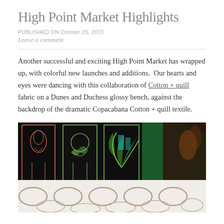High Point Market Highlights
PUBLISHED ON October 25, 2015
Leave a comment
Another successful and exciting High Point Market has wrapped up, with colorful new launches and additions.  Our hearts and eyes were dancing with this collaboration of Cotton + quill fabric on a Dunes and Duchess glossy bench, against the backdrop of the dramatic Copacabana Cotton + quill textile.
[Figure (photo): Photo of colorful fabric panels with dark background featuring animal illustrations in neon colors (bird, cat, botanical prints), alongside a white bench fabric with large oval/circle pattern in gray.]